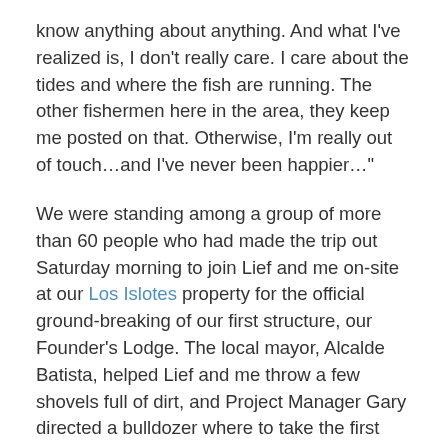know anything about anything. And what I've realized is, I don't really care. I care about the tides and where the fish are running. The other fishermen here in the area, they keep me posted on that. Otherwise, I'm really out of touch…and I've never been happier…"
We were standing among a group of more than 60 people who had made the trip out Saturday morning to join Lief and me on-site at our Los Islotes property for the official ground-breaking of our first structure, our Founder's Lodge. The local mayor, Alcalde Batista, helped Lief and me throw a few shovels full of dirt, and Project Manager Gary directed a bulldozer where to take the first swipes. We all shared a champagne toast and then retreated to the shade of our Rancho for a bar-b-que lunch of chicken and ribs cooked over open fires.
The bunch of us lingered for the next few hours around the